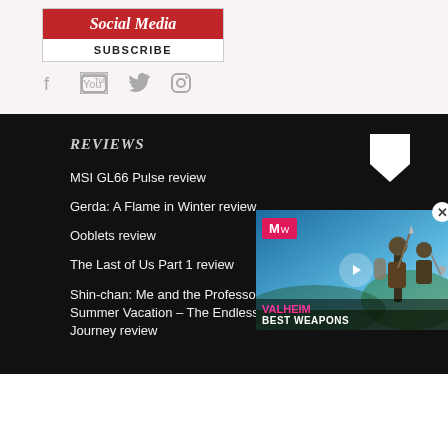[Figure (logo): Social Media Subscribe box with red header and subscribe label]
[Figure (infographic): Social media icons: Facebook, YouTube, Twitter, Instagram]
REVIEWS
MSI GL66 Pulse review
Gerda: A Flame in Winter review
Ooblets review
The Last of Us Part 1 review
Shin-chan: Me and the Professor on Summer Vacation – The Endless Seven Day Journey review
[Figure (screenshot): Video thumbnail: Valheim Best Weapons with MW logo and play button]